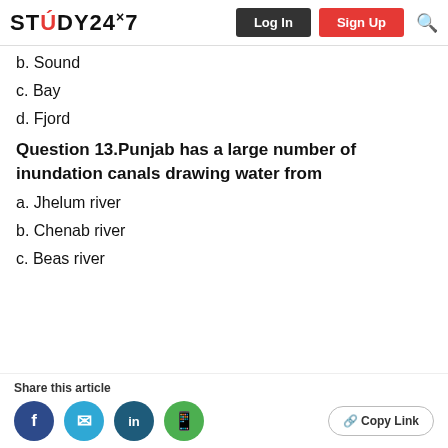STUDY24×7  Log In  Sign Up
b. Sound
c. Bay
d. Fjord
Question 13.Punjab has a large number of inundation canals drawing water from
a. Jhelum river
b. Chenab river
c. Beas river
Share this article